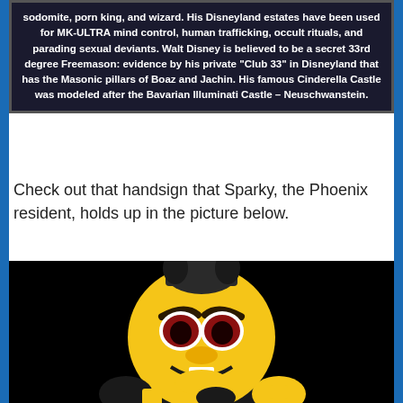sodomite, porn king, and wizard. His Disneyland estates have been used for MK-ULTRA mind control, human trafficking, occult rituals, and parading sexual deviants. Walt Disney is believed to be a secret 33rd degree Freemason: evidence by his private "Club 33" in Disneyland that has the Masonic pillars of Boaz and Jachin. His famous Cinderella Castle was modeled after the Bavarian Illuminati Castle – Neuschwanstein.
Check out that handsign that Sparky, the Phoenix resident, holds up in the picture below.
[Figure (photo): A yellow and black mascot costume character (Sparky the Sun Devil from Arizona State University) photographed against a black background, making a hand gesture. The mascot has a large yellow head with dark eyebrows, red-rimmed eyes, and a smiling expression, wearing a black and gold uniform.]